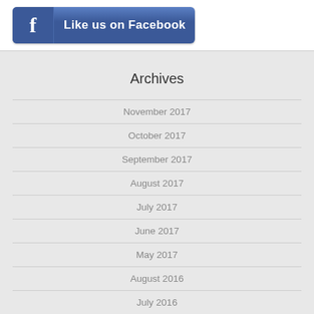[Figure (logo): Facebook Like us on Facebook button with blue background and white Facebook 'f' icon on the left]
Archives
November 2017
October 2017
September 2017
August 2017
July 2017
June 2017
May 2017
August 2016
July 2016
February 2016
August 2015
July 2015